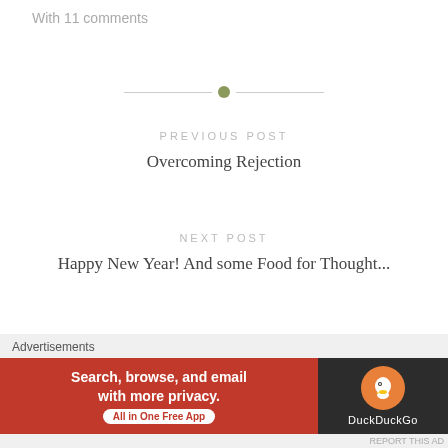With 11 comments
[Figure (other): Horizontal divider with olive green center dot]
PREVIOUS POST
Overcoming Rejection
NEXT POST
Happy New Year! And some Food for Thought...
[Figure (other): Close/dismiss button (circled X)]
Advertisements
[Figure (other): DuckDuckGo advertisement banner: Search, browse, and email with more privacy. All in One Free App]